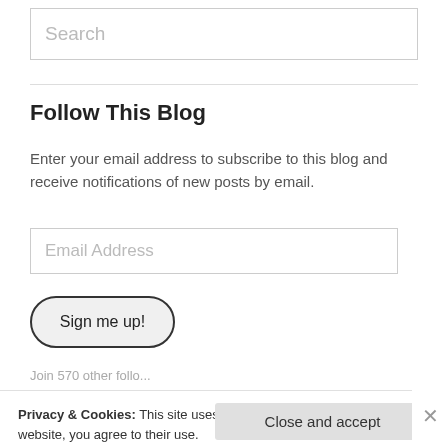Search
Follow This Blog
Enter your email address to subscribe to this blog and receive notifications of new posts by email.
Email Address
Sign me up!
Privacy & Cookies: This site uses cookies. By continuing to use this website, you agree to their use.
To find out more, including how to control cookies, see here: Cookie Policy
Close and accept